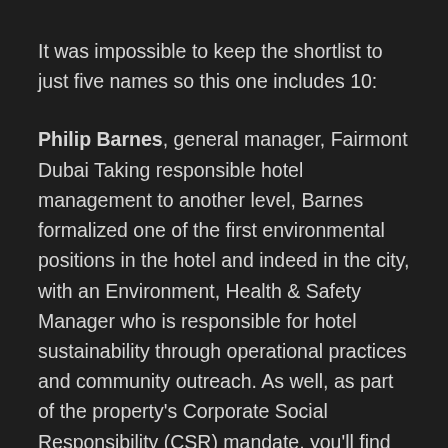It was impossible to keep the shortlist to just five names so this one includes 10:
Philip Barnes, general manager, Fairmont Dubai Taking responsible hotel management to another level, Barnes formalized one of the first environmental positions in the hotel and indeed in the city, with an Environment, Health & Safety Manager who is responsible for hotel sustainability through operational practices and community outreach. As well, as part of the property's Corporate Social Responsibility (CSR) mandate, you'll find him running alongside his team at the annual Terry Fox Run and hosting a colleague